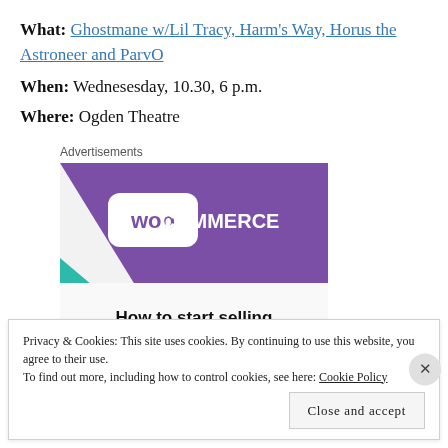What: Ghostmane w/Lil Tracy, Harm's Way, Horus the Astroneer and ParvO
When: Wednesesday, 10.30, 6 p.m.
Where: Ogden Theatre
Advertisements
[Figure (illustration): WooCommerce advertisement banner showing purple and teal geometric shapes with WooCommerce logo and text 'How to start selling']
Privacy & Cookies: This site uses cookies. By continuing to use this website, you agree to their use. To find out more, including how to control cookies, see here: Cookie Policy